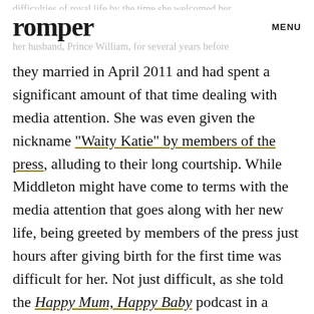romper   MENU
difficulties of royal life by the time she welcomed her George, on July 22, 2013. She dated her husband, Prince William, for several years before
they married in April 2011 and had spent a significant amount of that time dealing with media attention. She was even given the nickname "Waity Katie" by members of the press, alluding to their long courtship. While Middleton might have come to terms with the media attention that goes along with her new life, being greeted by members of the press just hours after giving birth for the first time was difficult for her. Not just difficult, as she told the Happy Mum, Happy Baby podcast in a recent interview with Giovanna Fletcher, it was "slightly terrifying."